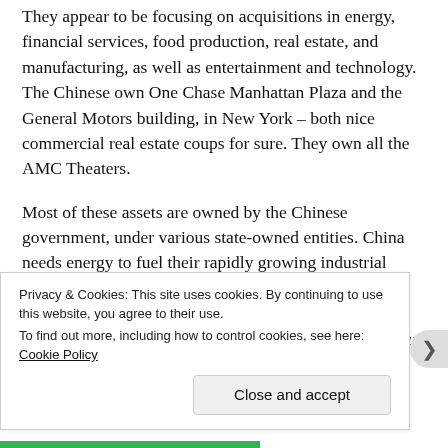They appear to be focusing on acquisitions in energy, financial services, food production, real estate, and manufacturing, as well as entertainment and technology. The Chinese own One Chase Manhattan Plaza and the General Motors building, in New York – both nice commercial real estate coups for sure. They own all the AMC Theaters.
Most of these assets are owned by the Chinese government, under various state-owned entities. China needs energy to fuel their rapidly growing industrial development, and have purchased power assets in Portugal, Brazil and the Philippines. They had an unsuccessful attempt to buy the U.S. oil company Unocal in
Privacy & Cookies: This site uses cookies. By continuing to use this website, you agree to their use.
To find out more, including how to control cookies, see here: Cookie Policy
Close and accept